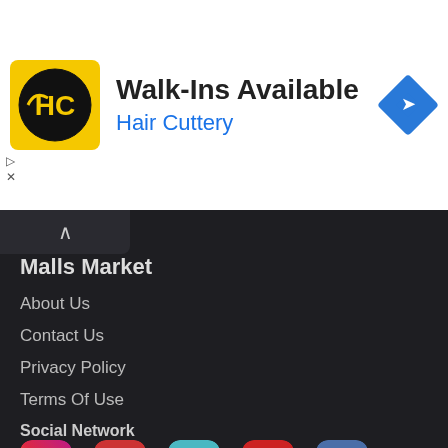[Figure (logo): Hair Cuttery logo with HC initials in black circle on yellow background]
Walk-Ins Available
Hair Cuttery
[Figure (logo): Blue navigation/directions diamond icon]
Malls Market
About Us
Contact Us
Privacy Policy
Terms Of Use
Social Network
[Figure (logo): Social media icons: Instagram, Google+, Twitter, Pinterest, Facebook]
Partner Sites
[Figure (logo): inbrief.in Curated News partner site logo]